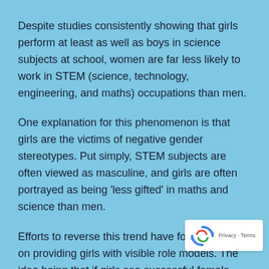Despite studies consistently showing that girls perform at least as well as boys in science subjects at school, women are far less likely to work in STEM (science, technology, engineering, and maths) occupations than men.
One explanation for this phenomenon is that girls are the victims of negative gender stereotypes. Put simply, STEM subjects are often viewed as masculine, and girls are often portrayed as being 'less gifted' in maths and science than men.
Efforts to reverse this trend have focused mainly on providing girls with visible role models. The idea being that if girls see successful female scientists in the media, or read about them in books, they will be much more likely to consider a career in STEM.
[Figure (logo): Google reCAPTCHA badge with recycling-arrows icon and 'Privacy · Terms' text]